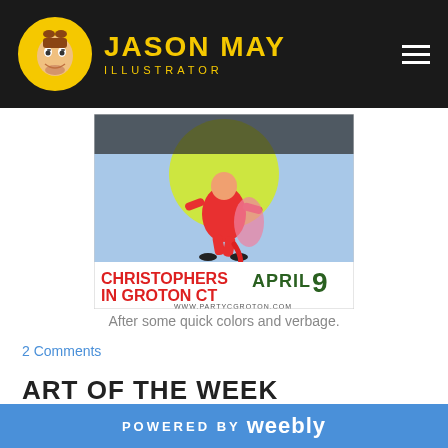Jason May Illustrator
[Figure (illustration): Event poster illustration: Christophers in Groton CT, April 9, www.partycgroton.com. Shows a cartoon figure in red outfit with colorful graphic design elements.]
After some quick colors and verbage.
2 Comments
ART OF THE WEEK
Welcome! So, this is where I'm going to try and do a drawing, painting, sketch, sculpture, etc... every single week! Maybe more
POWERED BY weebly